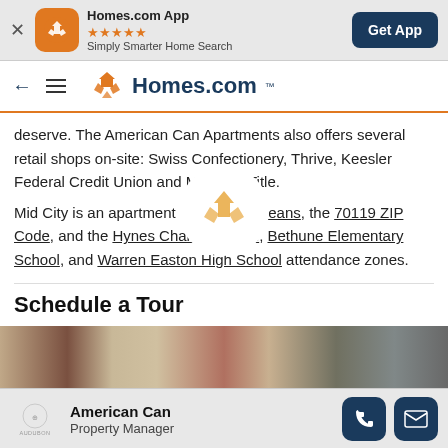Homes.com App ★★★★★ Simply Smarter Home Search — Get App
← ≡ Homes.com
deserve. The American Can Apartments also offers several retail shops on-site: Swiss Confectionery, Thrive, Keesler Federal Credit Union and Monarch Title.
Mid City is an apartment located in Orleans, the 70119 ZIP Code, and the Hynes Charter School, Bethune Elementary School, and Warren Easton High School attendance zones.
Schedule a Tour
[Figure (photo): Partial view of apartment building exterior photo strip]
American Can — Property Manager